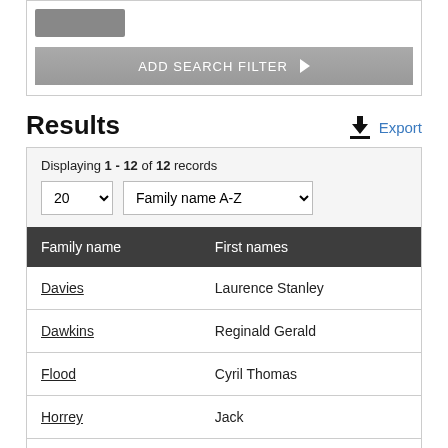[Figure (screenshot): Top portion showing a search button stub and ADD SEARCH FILTER button]
Results
Displaying 1 - 12 of 12 records
| Family name | First names |
| --- | --- |
| Davies | Laurence Stanley |
| Dawkins | Reginald Gerald |
| Flood | Cyril Thomas |
| Horrey | Jack |
| Kirk | Harold |